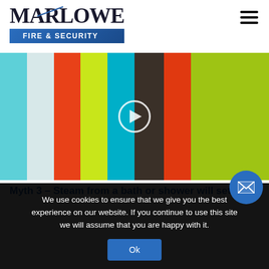[Figure (logo): Marlowe Fire & Security logo with company name in serif font and blue gradient banner underneath reading FIRE & SECURITY]
[Figure (screenshot): Color test bars video thumbnail with a circular play button overlay in the center. Vertical color bars from left to right: cyan, light gray, orange-red, yellow-green, cyan/teal, dark charcoal, red-orange, lime green.]
Myth 3 – Steam from a bath or shower will set your
We use cookies to ensure that we give you the best experience on our website. If you continue to use this site we will assume that you are happy with it.
Ok